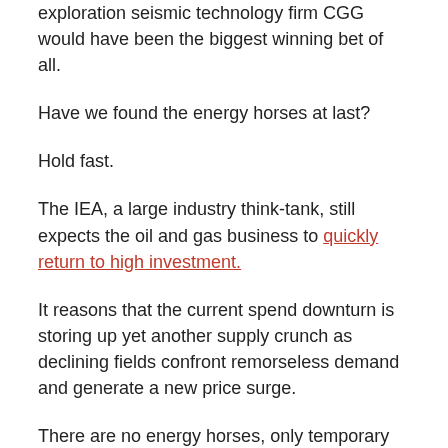exploration seismic technology firm CGG would have been the biggest winning bet of all.
Have we found the energy horses at last?
Hold fast.
The IEA, a large industry think-tank, still expects the oil and gas business to quickly return to high investment.
It reasons that the current spend downturn is storing up yet another supply crunch as declining fields confront remorseless demand and generate a new price surge.
There are no energy horses, only temporary industry reversals.